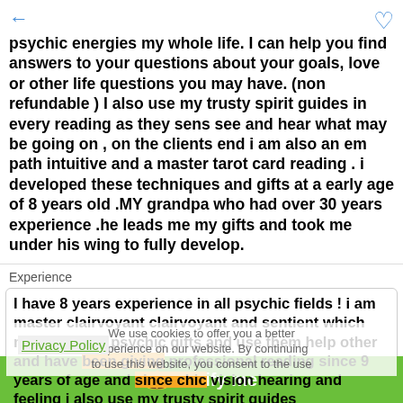psychic energies my whole life. I can help you find answers to your questions about your goals, love or other life questions you may have. (non refundable ) I also use my trusty spirit guides in every reading as they sens see and hear what may be going on , on the clients end i am also an em path intuitive and a master tarot card reading . i developed these techniques and gifts at a early age of 8 years old .MY grandpa who had over 30 years experience .he leads me my gifts and took me under his wing to fully develop.
Experience
I have 8 years experience in all psychic fields ! i am master clairvoyant clairvoyant and sentient which means i have psychic gifts and use them help other and have been giving professional reading since 9 years of age and since chic vision hearing and feeling i also use my trusty spirit guides
We use cookies to offer you a better experience on our website. By continuing to use this website, you consent to the use of cookies.
Privacy Policy
Notify me